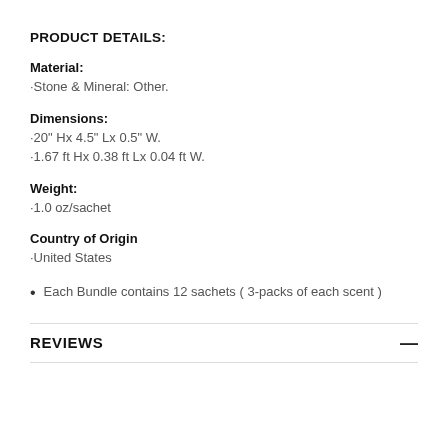PRODUCT DETAILS:
Material:
·Stone & Mineral: Other.
Dimensions:
·20" Hx 4.5" Lx 0.5" W.
·1.67 ft Hx 0.38 ft Lx 0.04 ft W.
Weight:
·1.0 oz/sachet
Country of Origin
·United States
Each Bundle contains 12 sachets ( 3-packs of each scent )
REVIEWS